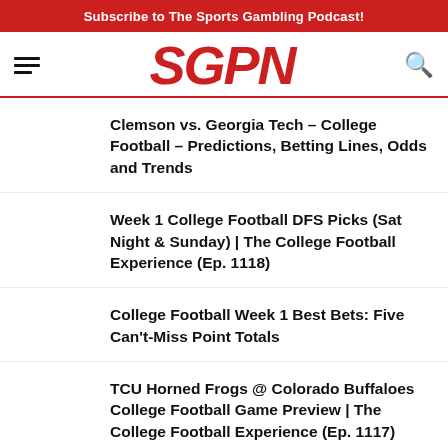Subscribe to The Sports Gambling Podcast!
[Figure (logo): SGPN logo in red bold italic text with hamburger menu on left and search icon on right]
Clemson vs. Georgia Tech – College Football – Predictions, Betting Lines, Odds and Trends
Week 1 College Football DFS Picks (Sat Night & Sunday) | The College Football Experience (Ep. 1118)
College Football Week 1 Best Bets: Five Can't-Miss Point Totals
TCU Horned Frogs @ Colorado Buffaloes College Football Game Preview | The College Football Experience (Ep. 1117)